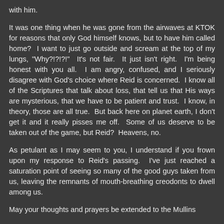with him.
It was one thing when he was gone from the airwaves at KTOK for reasons that only God himself knows, but to have him called home?  I want to just go outside and scream at the top of my lungs, "Why?!?!?!"  It's not fair.  It just isn't right.  I'm being honest with you all.  I am angry, confused, and I seriously disagree with God's choice where Reid is concerned.  I know all of the Scriptures that talk about loss, that tell us that His ways are mysterious, that we have to be patient and trust.  I know, in theory, those are all true.  But back here on planet earth, I don't get it and it really pisses me off.  Some of us deserve to be taken out of the game, but Reid?  Heavens, no.
As petulant as I may seem to you, I understand if you frown upon my response to Reid's passing.  I've just reached a saturation point of seeing so many of the good guys taken from us, leaving the remnants of mouth-breathing creodonts to dwell among us.
May your thoughts and prayers be extended to the Mullins